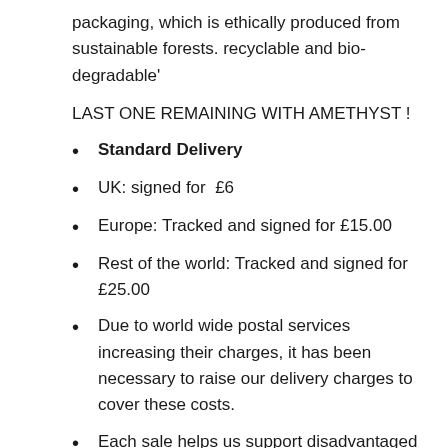packaging, which is ethically produced from sustainable forests. recyclable and bio-degradable'
LAST ONE REMAINING WITH AMETHYST !
Standard Delivery
UK: signed for  £6
Europe: Tracked and signed for £15.00
Rest of the world: Tracked and signed for £25.00
Due to world wide postal services increasing their charges, it has been necessary to raise our delivery charges to cover these costs.
Each sale helps us support disadvantaged mothers and children in